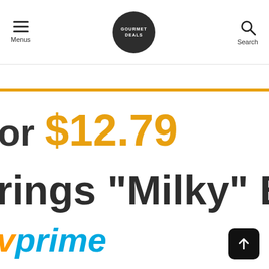Menus | [logo] | Search
or $12.79
rings "Milky" Bath
prime